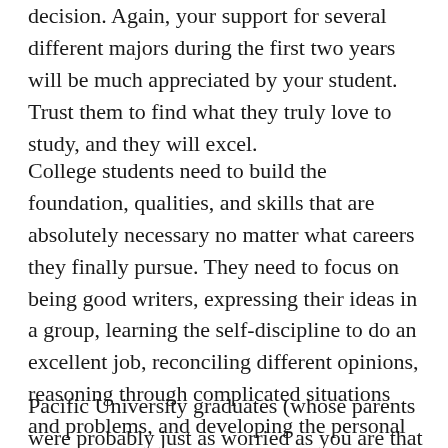decision. Again, your support for several different majors during the first two years will be much appreciated by your student. Trust them to find what they truly love to study, and they will excel.
College students need to build the foundation, qualities, and skills that are absolutely necessary no matter what careers they finally pursue. They need to focus on being good writers, expressing their ideas in a group, learning the self-discipline to do an excellent job, reconciling different opinions, reasoning through complicated situations and problems, and developing the personal qualities, ethics, and standards to be leading professionals.
Pacific University graduates (whose parents were probably just as worried as you are that their students would be on track) are making valued contributions in